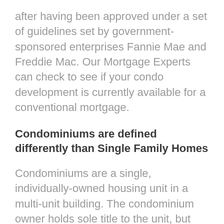after having been approved under a set of guidelines set by government-sponsored enterprises Fannie Mae and Freddie Mac. Our Mortgage Experts can check to see if your condo development is currently available for a conventional mortgage.
Condominiums are defined differently than Single Family Homes
Condominiums are a single, individually-owned housing unit in a multi-unit building. The condominium owner holds sole title to the unit, but owns land and common property